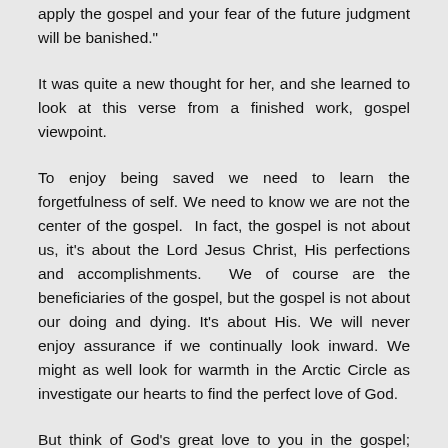apply the gospel and your fear of the future judgment will be banished."
It was quite a new thought for her, and she learned to look at this verse from a finished work, gospel viewpoint.
To enjoy being saved we need to learn the forgetfulness of self. We need to know we are not the center of the gospel.  In fact, the gospel is not about us, it’s about the Lord Jesus Christ, His perfections and accomplishments.  We of course are the beneficiaries of the gospel, but the gospel is not about our doing and dying. It’s about His. We will never enjoy assurance if we continually look inward. We might as well look for warmth in the Arctic Circle as investigate our hearts to find the perfect love of God.
But think of God’s great love to you in the gospel; believe it; take Him at His word about the finished work and you will have peace with Him (Romans 5:1). and you will enjoy the Holy Ghost shed abroad in your heart (Romans 5:5). For the believer to have assurance is